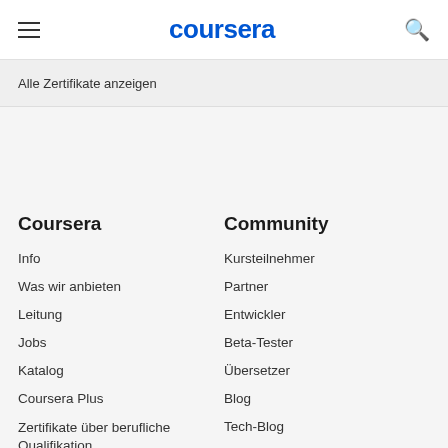coursera
Alle Zertifikate anzeigen
Coursera
Info
Was wir anbieten
Leitung
Jobs
Katalog
Coursera Plus
Zertifikate über berufliche Qualifikation
Community
Kursteilnehmer
Partner
Entwickler
Beta-Tester
Übersetzer
Blog
Tech-Blog
Lehrzentrum